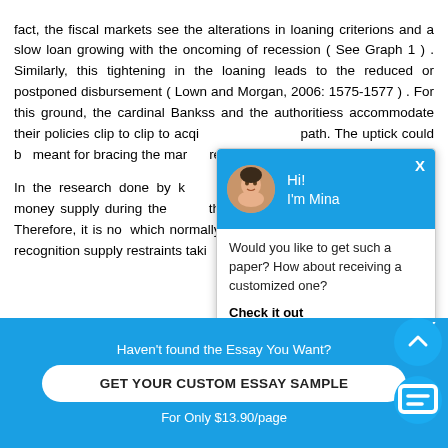fact, the fiscal markets see the alterations in loaning criterions and a slow loan growing with the oncoming of recession ( See Graph 1 ) . Similarly, this tightening in the loaning leads to the reduced or postponed disbursement ( Lown and Morgan, 2006: 1575-1577 ) . For this ground, the cardinal Bankss and the authoritiess accommodate their policies clip to clip to acqi... path. The uptick could b... meant for bracing the mar... recognition entree ( Barro...
In the research done by k... of the of import determin... money supply during the ... the large daze on the c... system. Therefore, it is no... which normally leads to ti... can besides be recognition supply restraints taki...
[Figure (screenshot): Chat overlay popup with blue header showing avatar of Mina and greeting 'Hi! I'm Mina', body text 'Would you like to get such a paper? How about receiving a customized one?' with 'Check it out' link]
[Figure (screenshot): Blue bottom banner with text 'Haven't found the Essay You Want?', button 'GET YOUR CUSTOM ESSAY SAMPLE', and 'For Only $13.90/page']